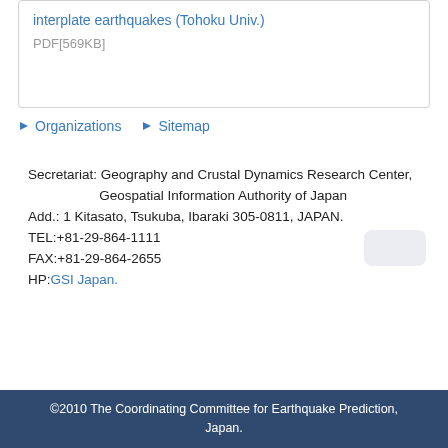interplate earthquakes (Tohoku Univ.)
PDF[569KB]
Organizations
Sitemap
Secretariat: Geography and Crustal Dynamics Research Center,
                    Geospatial Information Authority of Japan
Add.: 1 Kitasato, Tsukuba, Ibaraki 305-0811, JAPAN.
TEL:+81-29-864-1111
FAX:+81-29-864-2655
HP:GSI Japan.
©2010 The Coordinating Committee for Earthquake Prediction, Japan.